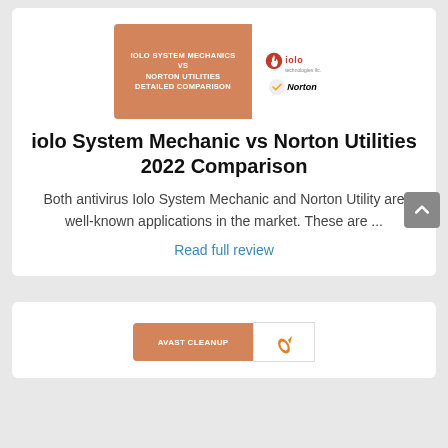[Figure (screenshot): Thumbnail image showing iolo System Mechanics vs Norton Utilities Detailed Comparison with iolo and Norton logos]
iolo System Mechanic vs Norton Utilities 2022 Comparison
Both antivirus Iolo System Mechanic and Norton Utility are well-known applications in the market. These are ...
Read full review
[Figure (screenshot): Partial thumbnail for a second comparison article (Avast Cleanup), cut off at the bottom of the page]